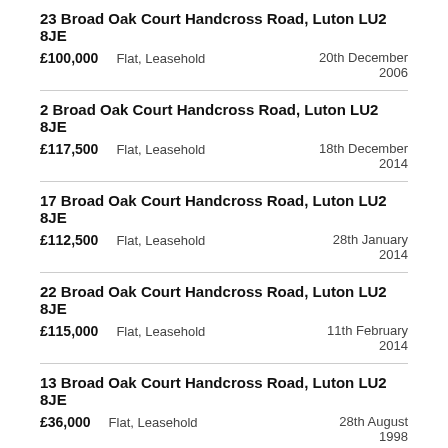23 Broad Oak Court Handcross Road, Luton LU2 8JE | £100,000 | Flat, Leasehold | 20th December 2006
2 Broad Oak Court Handcross Road, Luton LU2 8JE | £117,500 | Flat, Leasehold | 18th December 2014
17 Broad Oak Court Handcross Road, Luton LU2 8JE | £112,500 | Flat, Leasehold | 28th January 2014
22 Broad Oak Court Handcross Road, Luton LU2 8JE | £115,000 | Flat, Leasehold | 11th February 2014
13 Broad Oak Court Handcross Road, Luton LU2 8JE | £36,000 | Flat, Leasehold | 28th August 1998
25 Broad Oak Court Handcross Road, Luton LU2 8JE | £110,000 | Flat, Leasehold | 8th August 2011